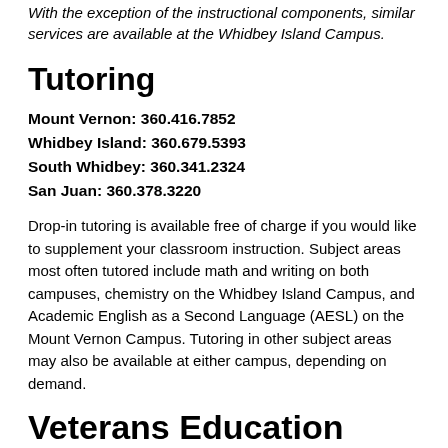With the exception of the instructional components, similar services are available at the Whidbey Island Campus.
Tutoring
Mount Vernon: 360.416.7852
Whidbey Island: 360.679.5393
South Whidbey: 360.341.2324
San Juan: 360.378.3220
Drop-in tutoring is available free of charge if you would like to supplement your classroom instruction. Subject areas most often tutored include math and writing on both campuses, chemistry on the Whidbey Island Campus, and Academic English as a Second Language (AESL) on the Mount Vernon Campus. Tutoring in other subject areas may also be available at either campus, depending on demand.
Veterans Education Services